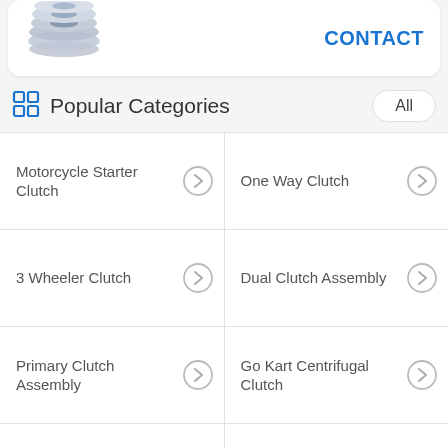[Figure (photo): Partial view of a stacked product (likely clutch discs) on left, with CONTACT link on right]
Popular Categories
Motorcycle Starter Clutch
One Way Clutch
3 Wheeler Clutch
Dual Clutch Assembly
Primary Clutch Assembly
Go Kart Centrifugal Clutch
Motorcycle Clutch Hub
Motorcycle Clutch Housing